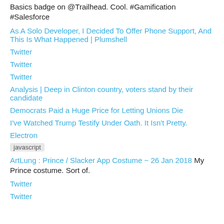Basics badge on @Trailhead. Cool. #Gamification #Salesforce
As A Solo Developer, I Decided To Offer Phone Support, And This Is What Happened | Plumshell
Twitter
Twitter
Twitter
Analysis | Deep in Clinton country, voters stand by their candidate
Democrats Paid a Huge Price for Letting Unions Die
I've Watched Trump Testify Under Oath. It Isn't Pretty.
Electron
javascript
ArtLung : Prince / Slacker App Costume ~ 26 Jan 2018 My Prince costume. Sort of.
Twitter
Twitter